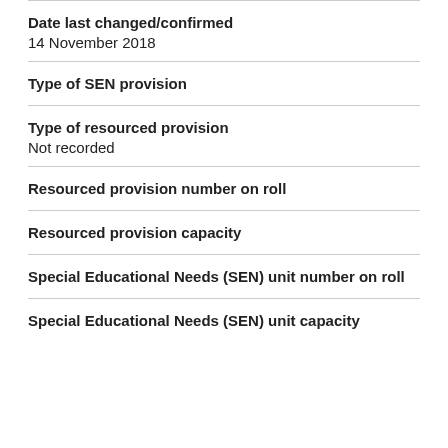Date last changed/confirmed
14 November 2018
Type of SEN provision
Type of resourced provision
Not recorded
Resourced provision number on roll
Resourced provision capacity
Special Educational Needs (SEN) unit number on roll
Special Educational Needs (SEN) unit capacity